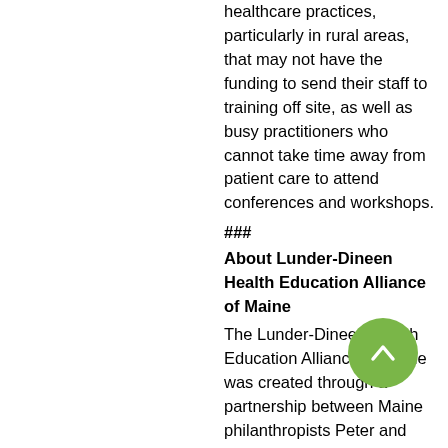healthcare practices, particularly in rural areas, that may not have the funding to send their staff to training off site, as well as busy practitioners who cannot take time away from patient care to attend conferences and workshops.
###
About Lunder-Dineen Health Education Alliance of Maine
The Lunder-Dineen Health Education Alliance of Maine was created through a partnership between Maine philanthropists Peter and Paula Lunder and Massachusetts General Hospital to improve the overall health of Maine residents by expanding their health knowledge and advancing the skills